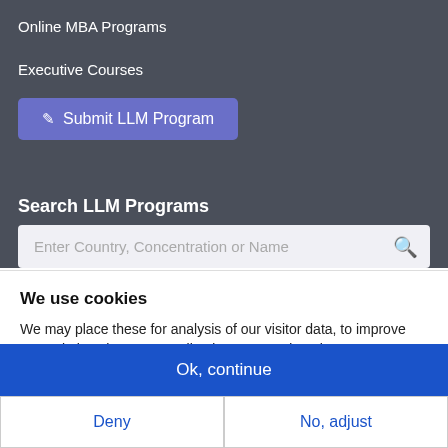Online MBA Programs
Executive Courses
Submit LLM Program
Search LLM Programs
Enter Country, Concentration or Name
We use cookies
We may place these for analysis of our visitor data, to improve our website, show personalised content and to give you a great website experience. For more information about the cookies we use open the settings.
Ok, continue
Deny
No, adjust